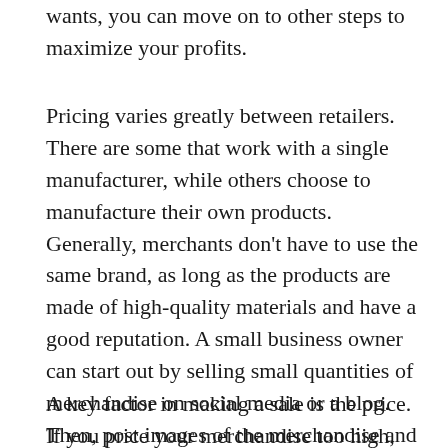wants, you can move on to other steps to maximize your profits.
Pricing varies greatly between retailers. There are some that work with a single manufacturer, while others choose to manufacture their own products. Generally, merchants don't have to use the same brand, as long as the products are made of high-quality materials and have a good reputation. A small business owner can start out by selling small quantities of merchandise on social media or a blog. Then, post images of the merchandise and gather user-generated content (UGC) and product reviews. Contests are another way to increase activity on your social media sites. You can also do a repost giveaway to introduce your product.
A key factor in making a sale is the price. If you price your merchandise too high, people will walk